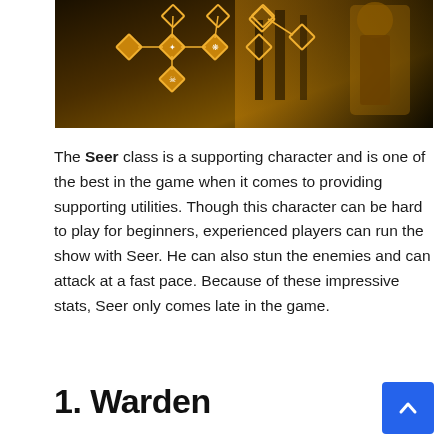[Figure (screenshot): Game screenshot showing Seer character skill tree with diamond-shaped nodes connected by lines, golden/yellow themed UI, character artwork on the right with dark forest background]
The Seer class is a supporting character and is one of the best in the game when it comes to providing supporting utilities. Though this character can be hard to play for beginners, experienced players can run the show with Seer. He can also stun the enemies and can attack at a fast pace. Because of these impressive stats, Seer only comes late in the game.
1. Warden